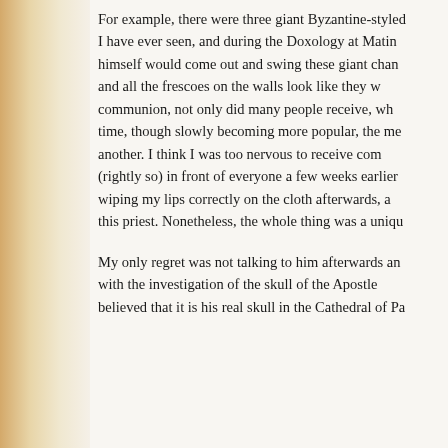For example, there were three giant Byzantine-styled I have ever seen, and during the Doxology at Matin himself would come out and swing these giant chan and all the frescoes on the walls look like they w communion, not only did many people receive, wh time, though slowly becoming more popular, the me another. I think I was too nervous to receive com (rightly so) in front of everyone a few weeks earlier wiping my lips correctly on the cloth afterwards, a this priest. Nonetheless, the whole thing was a uniqu
My only regret was not talking to him afterwards an with the investigation of the skull of the Apostle believed that it is his real skull in the Cathedral of Pa